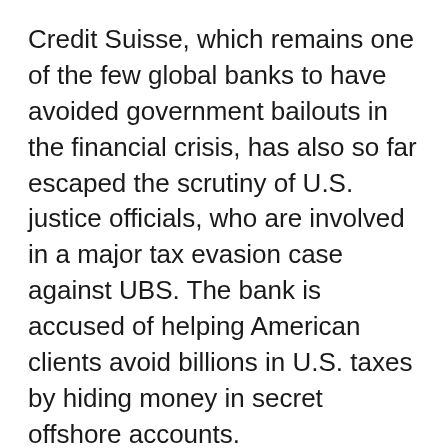Credit Suisse, which remains one of the few global banks to have avoided government bailouts in the financial crisis, has also so far escaped the scrutiny of U.S. justice officials, who are involved in a major tax evasion case against UBS. The bank is accused of helping American clients avoid billions in U.S. taxes by hiding money in secret offshore accounts.
Investigators have repeatedly hinted that they will expand their probe to include other major foreign banks.
Source: Forbes